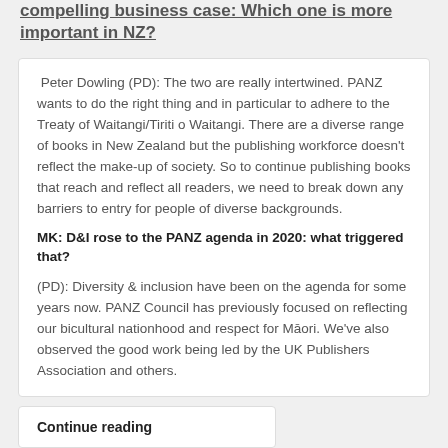compelling business case: Which one is more important in NZ?
Peter Dowling (PD): The two are really intertwined. PANZ wants to do the right thing and in particular to adhere to the Treaty of Waitangi/Tiriti o Waitangi. There are a diverse range of books in New Zealand but the publishing workforce doesn’t reflect the make-up of society. So to continue publishing books that reach and reflect all readers, we need to break down any barriers to entry for people of diverse backgrounds.
MK: D&I rose to the PANZ agenda in 2020: what triggered that?
(PD): Diversity & inclusion have been on the agenda for some years now. PANZ Council has previously focused on reflecting our bicultural nationhood and respect for Māori. We’ve also observed the good work being led by the UK Publishers Association and others.
Continue reading